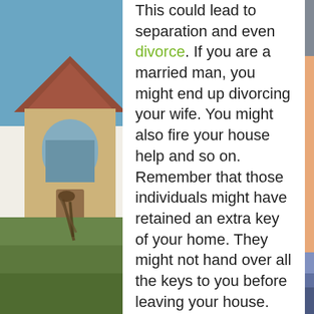[Figure (photo): Background photo on left side showing a house exterior with a person holding keys, blurred bokeh background with blue sky and house facade visible]
This could lead to separation and even divorce. If you are a married man, you might end up divorcing your wife. You might also fire your house help and so on. Remember that those individuals might have retained an extra key of your home. They might not hand over all the keys to you before leaving your house. This is the reason why you should not relent in re-keying your home. These individuals can access your home when
[Figure (photo): Background photo on right side showing a hand/finger pointing or touching, with a blurred suburban house in the lower portion, blue sky background]